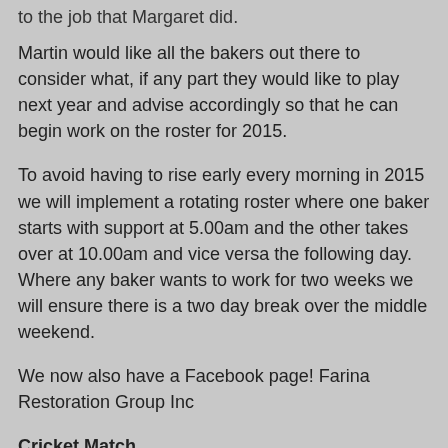to the job that Margaret did.
Martin would like all the bakers out there to consider what, if any part they would like to play next year and advise accordingly so that he can begin work on the roster for 2015.
To avoid having to rise early every morning in 2015 we will implement a rotating roster where one baker starts with support at 5.00am and the other takes over at 10.00am and vice versa the following day. Where any baker wants to work for two weeks we will ensure there is a two day break over the middle weekend.
We now also have a Facebook page! Farina Restoration Group Inc
Cricket Match